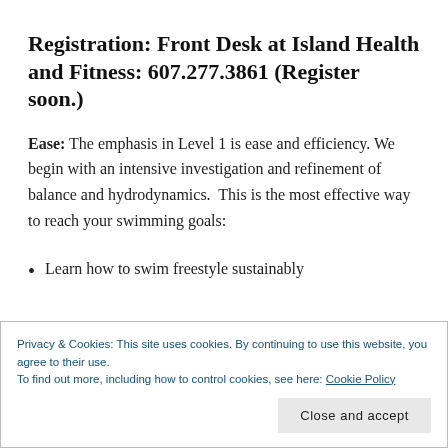Registration: Front Desk at Island Health and Fitness: 607.277.3861 (Register soon.)
Ease: The emphasis in Level 1 is ease and efficiency. We begin with an intensive investigation and refinement of balance and hydrodynamics.  This is the most effective way to reach your swimming goals:
Learn how to swim freestyle sustainably
Privacy & Cookies: This site uses cookies. By continuing to use this website, you agree to their use.
To find out more, including how to control cookies, see here: Cookie Policy
Close and accept